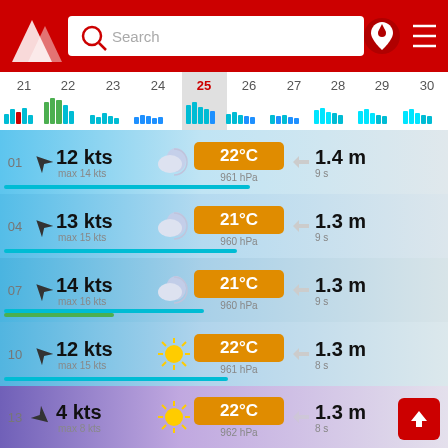[Figure (screenshot): Windy app header with red background, logo, search bar, and navigation icons]
[Figure (bar-chart): Small wind bar chart shown under date strip]
01  12 kts  max 14 kts  22°C  961 hPa  1.4 m  9 s
04  13 kts  max 15 kts  21°C  960 hPa  1.3 m  9 s
07  14 kts  max 16 kts  21°C  960 hPa  1.3 m  9 s
10  12 kts  max 15 kts  22°C  961 hPa  1.3 m  8 s
13  4 kts  max 8 kts  22°C  962 hPa  1.3 m  8 s